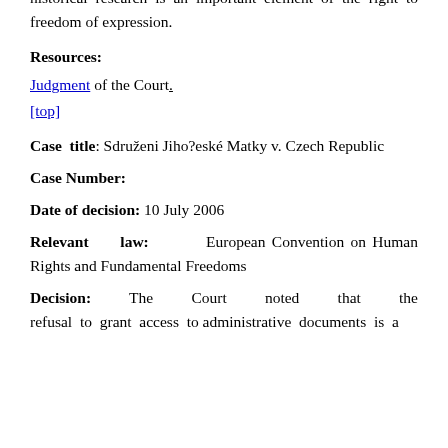expression). The Court stated that access to the documents for historical research is an important element of the right to freedom of expression.
Resources:
Judgment of the Court.
[top]
Case title: Sdruženi Jiho?eské Matky v. Czech Republic
Case Number:
Date of decision: 10 July 2006
Relevant law: European Convention on Human Rights and Fundamental Freedoms
Decision: The Court noted that the refusal to grant access to administrative documents is a